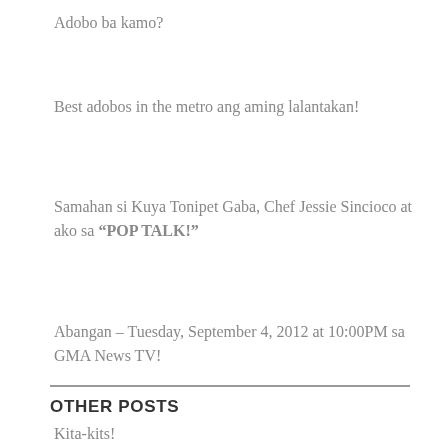Adobo ba kamo?
Best adobos in the metro ang aming lalantakan!
Samahan si Kuya Tonipet Gaba, Chef Jessie Sincioco at ako sa “POP TALK!”
Abangan – Tuesday, September 4, 2012 at 10:00PM sa GMA News TV!
Kita-kits!
OTHER POSTS